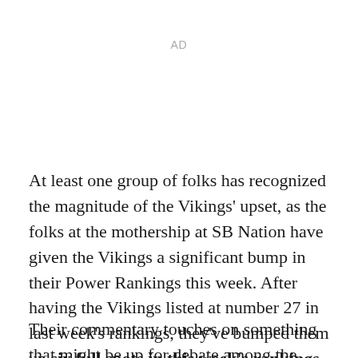AD
At least one group of folks has recognized the magnitude of the Vikings' upset, as the folks at the mothership at SB Nation have given the Vikings a significant bump in their Power Rankings this week. After having the Vikings listed at number 27 in last week's rankings, they've bumped them up six full spots in this week's rankings to number 21.
Their commentary touches on something that might be up for debate among the Viking faithful over the off-